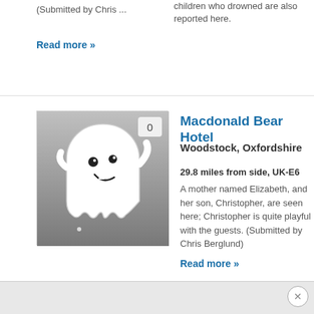children who drowned are also reported here.
(Submitted by Chris ...
Read more »
[Figure (illustration): Ghost illustration on gray gradient background with badge showing 0]
Macdonald Bear Hotel
Woodstock, Oxfordshire
29.8 miles from side, UK-E6
A mother named Elizabeth, and her son, Christopher, are seen here; Christopher is quite playful with the guests. (Submitted by Chris Berglund)
Read more »
[Figure (photo): Book cover: The Haunting of America - Ghosts and Legends of America's Haunted Inns]